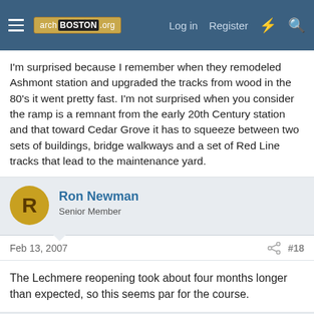archBOSTON.org — Log in  Register
I'm surprised because I remember when they remodeled Ashmont station and upgraded the tracks from wood in the 80's it went pretty fast. I'm not surprised when you consider the ramp is a remnant from the early 20th Century station and that toward Cedar Grove it has to squeeze between two sets of buildings, bridge walkways and a set of Red Line tracks that lead to the maintenance yard.
Ron Newman
Senior Member
Feb 13, 2007  #18
The Lechmere reopening took about four months longer than expected, so this seems par for the course.
Ron Newman
Senior Member